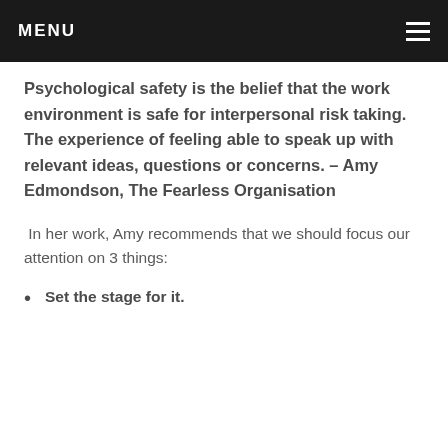MENU
Psychological safety is the belief that the work environment is safe for interpersonal risk taking. The experience of feeling able to speak up with relevant ideas, questions or concerns. – Amy Edmondson, The Fearless Organisation
In her work, Amy recommends that we should focus our attention on 3 things:
Set the stage for it.